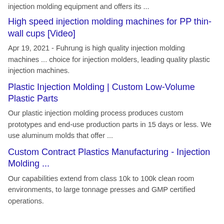injection molding equipment and offers its ...
High speed injection molding machines for PP thin-wall cups [Video]
Apr 19, 2021 - Fuhrung is high quality injection molding machines ... choice for injection molders, leading quality plastic injection machines.
Plastic Injection Molding | Custom Low-Volume Plastic Parts
Our plastic injection molding process produces custom prototypes and end-use production parts in 15 days or less. We use aluminum molds that offer ...
Custom Contract Plastics Manufacturing - Injection Molding ...
Our capabilities extend from class 10k to 100k clean room environments, to large tonnage presses and GMP certified operations.